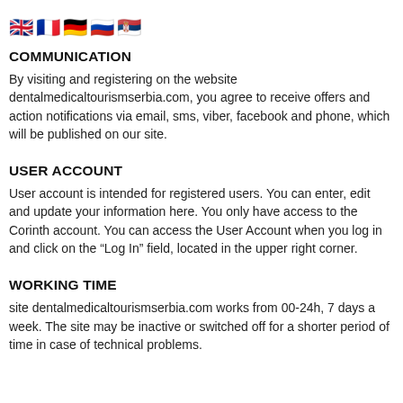[Figure (other): Row of five country flag emoji icons: UK, France, Germany, Russia, Serbia]
COMMUNICATION
By visiting and registering on the website dentalmedicaltourismserbia.com, you agree to receive offers and action notifications via email, sms, viber, facebook and phone, which will be published on our site.
USER ACCOUNT
User account is intended for registered users. You can enter, edit and update your information here. You only have access to the Corinth account. You can access the User Account when you log in and click on the “Log In” field, located in the upper right corner.
WORKING TIME
site dentalmedicaltourismserbia.com works from 00-24h, 7 days a week. The site may be inactive or switched off for a shorter period of time in case of technical problems.